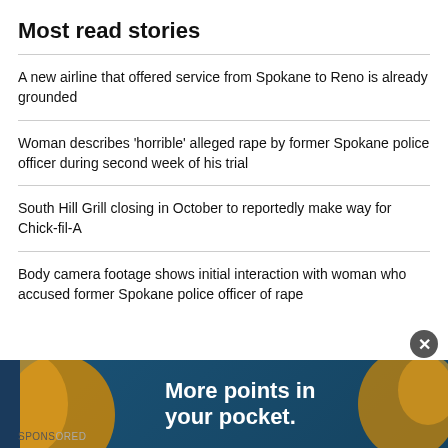Most read stories
A new airline that offered service from Spokane to Reno is already grounded
Woman describes 'horrible' alleged rape by former Spokane police officer during second week of his trial
South Hill Grill closing in October to reportedly make way for Chick-fil-A
Body camera footage shows initial interaction with woman who accused former Spokane police officer of rape
[Figure (infographic): Advertisement banner: 'More points in your pocket.' with decorative gold and blue shapes. Sponsored label visible at bottom left.]